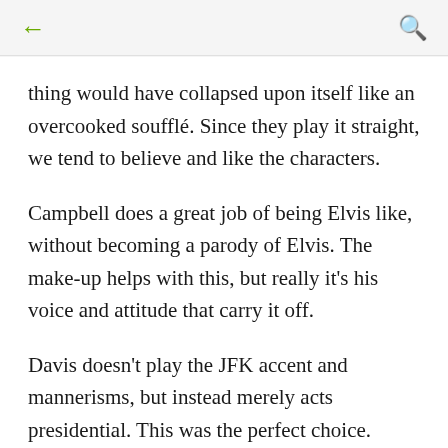← [back] [search]
thing would have collapsed upon itself like an overcooked soufflé. Since they play it straight, we tend to believe and like the characters.
Campbell does a great job of being Elvis like, without becoming a parody of Elvis. The make-up helps with this, but really it's his voice and attitude that carry it off.
Davis doesn't play the JFK accent and mannerisms, but instead merely acts presidential. This was the perfect choice.